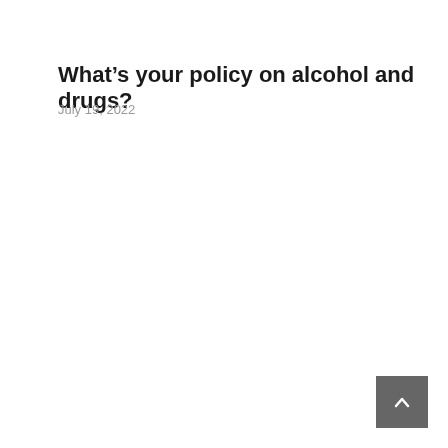What’s your policy on alcohol and drugs?
July 19, 2022